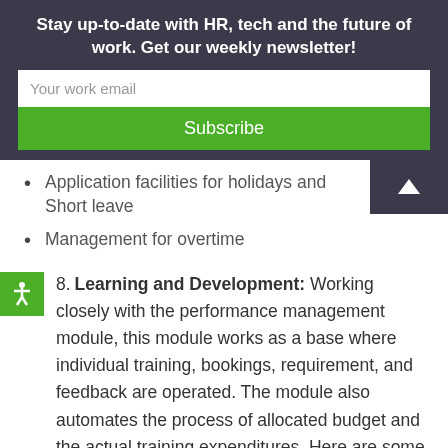Stay up-to-date with HR, tech and the future of work. Get our weekly newsletter!
Application facilities for holidays and Short leave
Management for overtime
8. Learning and Development: Working closely with the performance management module, this module works as a base where individual training, bookings, requirement, and feedback are operated. The module also automates the process of allocated budget and the actual training expenditures. Here are some of the important features this module provides.